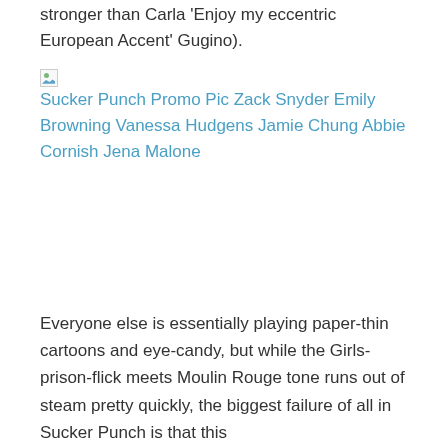stronger than Carla 'Enjoy my eccentric European Accent' Gugino).
[Figure (photo): Broken image placeholder for: Sucker Punch Promo Pic Zack Snyder Emily Browning Vanessa Hudgens Jamie Chung Abbie Cornish Jena Malone]
Everyone else is essentially playing paper-thin cartoons and eye-candy, but while the Girls-prison-flick meets Moulin Rouge tone runs out of steam pretty quickly, the biggest failure of all in Sucker Punch is that this